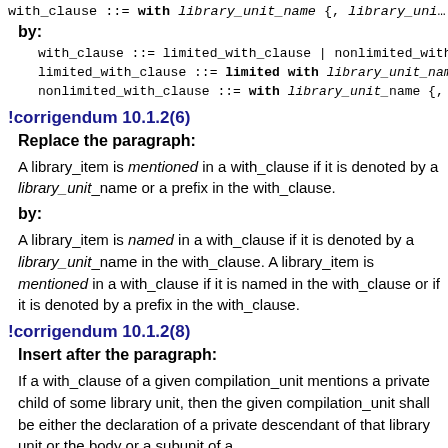with_clause ::= with library_unit_name {, library_uni…
by:
with_clause ::= limited_with_clause | nonlimited_with_cla…
limited_with_clause ::= limited with library_unit_name…
nonlimited_with_clause ::= with library_unit_name {, l…
!corrigendum 10.1.2(6)
Replace the paragraph:
A library_item is mentioned in a with_clause if it is denoted by a library_unit_name or a prefix in the with_clause.
by:
A library_item is named in a with_clause if it is denoted by a library_unit_name in the with_clause. A library_item is mentioned in a with_clause if it is named in the with_clause or if it is denoted by a prefix in the with_clause.
!corrigendum 10.1.2(8)
Insert after the paragraph:
If a with_clause of a given compilation_unit mentions a private child of some library unit, then the given compilation_unit shall be either the declaration of a private descendant of that library unit or the body or a subunit of a…